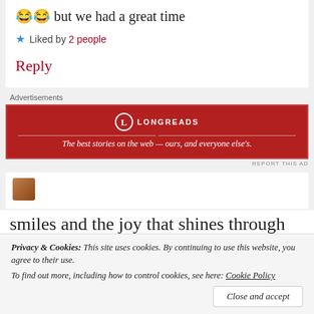😂😂 but we had a great time
★ Liked by 2 people
Reply
Advertisements
[Figure (other): Longreads advertisement banner: red background with Longreads logo and tagline 'The best stories on the web — ours, and everyone else's.']
REPORT THIS AD
smiles and the joy that shines through all
Privacy & Cookies: This site uses cookies. By continuing to use this website, you agree to their use. To find out more, including how to control cookies, see here: Cookie Policy
Close and accept